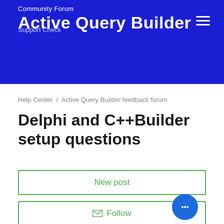Community Forum / Active Query Builder / Support Check
Help Center / Active Query Builder feedback forum
Delphi and C++Builder setup questions
New post
Follow